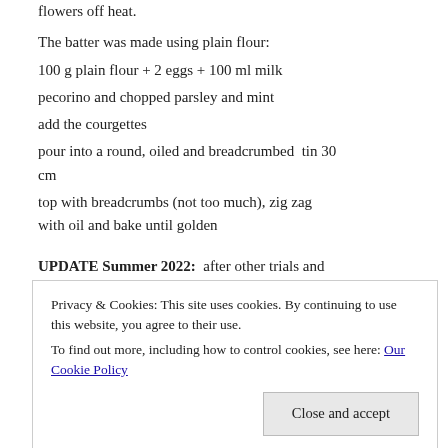flowers off heat.
The batter was made using plain flour:
100 g plain flour + 2 eggs + 100 ml milk
pecorino and chopped parsley and mint
add the courgettes
pour into a round, oiled and breadcrumbed  tin 30 cm
top with breadcrumbs (not too much), zig zag with oil and bake until golden
UPDATE Summer 2022:  after other trials and
Privacy & Cookies: This site uses cookies. By continuing to use this website, you agree to their use.
To find out more, including how to control cookies, see here: Our Cookie Policy
Close and accept
clues watch. The lady here, who seems to know a